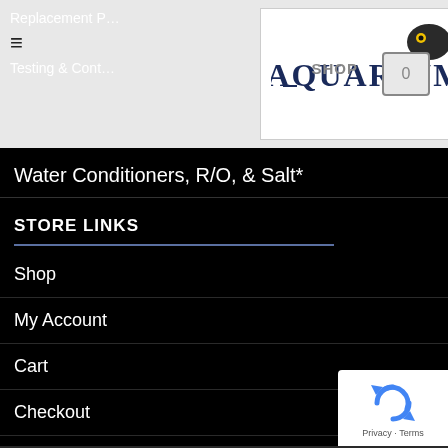Replacement P… | Testing & Cont…
[Figure (logo): Aquarium store logo with fish mascot and 'AQUARIUM' text in navy serif font]
Water Conditioners, R/O, & Salt*
STORE LINKS
Shop
My Account
Cart
Checkout
Terms & Conditions
CONTACT
[Figure (logo): Google reCAPTCHA badge with recycling-arrow logo, Privacy · Terms text]